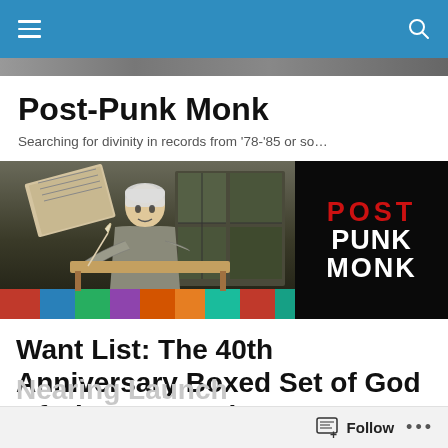Post-Punk Monk navigation bar
[Figure (screenshot): Website banner strip showing faded record covers in grayscale]
Post-Punk Monk
Searching for divinity in records from '78-'85 or so...
[Figure (illustration): Hero banner image: left side shows a medieval monk writing at a desk with books, right side shows POST PUNK MONK logo text in red and white on black background]
Want List: The 40th Anniversary Boxed Set of God Of Ultravox's “Vienna” Is Nearing Launch